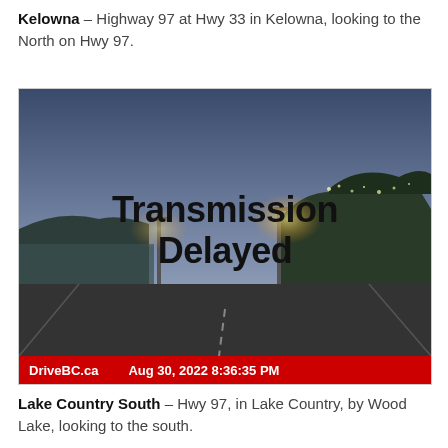Kelowna – Highway 97 at Hwy 33 in Kelowna, looking to the North on Hwy 97.
[Figure (photo): Highway traffic camera image showing a nighttime view of Highway 97 at Hwy 33 in Kelowna, with text overlay reading 'Transmission Delayed'. Red footer bar shows 'DriveBC.ca' logo and timestamp 'Aug 30, 2022 8:36:35 PM'.]
Lake Country South – Hwy 97, in Lake Country, by Wood Lake, looking to the south.